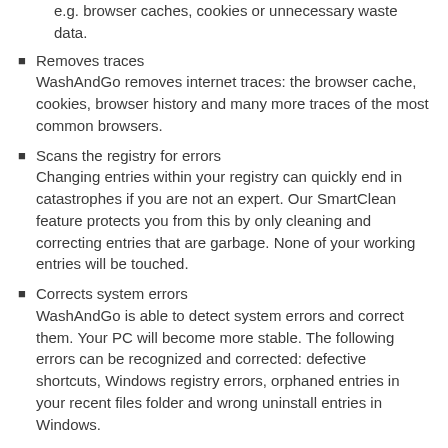Abelssoft WashAndGo SmartKey removes internet traces, e.g. browser caches, cookies or unnecessary waste data.
Removes traces
WashAndGo removes internet traces: the browser cache, cookies, browser history and many more traces of the most common browsers.
Scans the registry for errors
Changing entries within your registry can quickly end in catastrophes if you are not an expert. Our SmartClean feature protects you from this by only cleaning and correcting entries that are garbage. None of your working entries will be touched.
Corrects system errors
WashAndGo is able to detect system errors and correct them. Your PC will become more stable. The following errors can be recognized and corrected: defective shortcuts, Windows registry errors, orphaned entries in your recent files folder and wrong uninstall entries in Windows.
Safety first